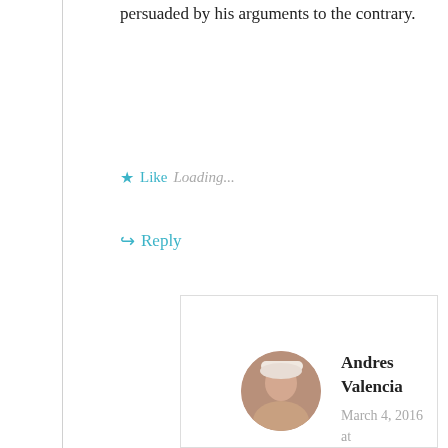persuaded by his arguments to the contrary.
Like   Loading...
Reply
Andres Valencia
March 4, 2016 at 5:03 pm
Fair enough! My only objection is that although